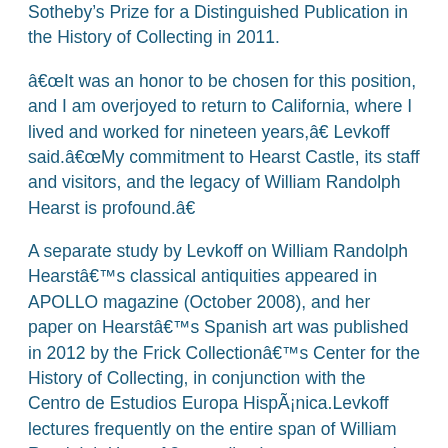Sotheby's Prize for a Distinguished Publication in the History of Collecting in 2011.
â€œIt was an honor to be chosen for this position, and I am overjoyed to return to California, where I lived and worked for nineteen years,â€ Levkoff said.â€œMy commitment to Hearst Castle, its staff and visitors, and the legacy of William Randolph Hearst is profound.â€
A separate study by Levkoff on William Randolph Hearstâ€™s classical antiquities appeared in APOLLO magazine (October 2008), and her paper on Hearstâ€™s Spanish art was published in 2012 by the Frick Collectionâ€™s Center for the History of Collecting, in conjunction with the Centro de Estudios Europa HispÃ¡nica.Levkoff lectures frequently on the entire span of William Randolph Hearstâ€™s collections, most recently at the Ã‰cole du Louvre (on Hearstâ€™s connoisseurship), and at the Wallace Collection in